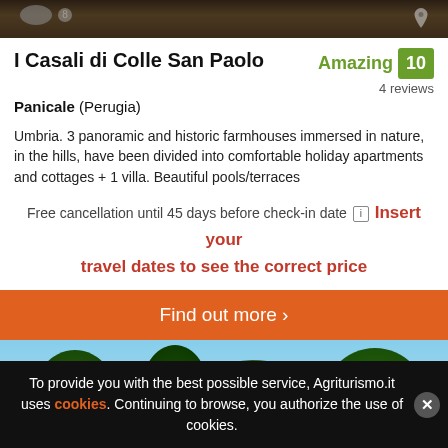[Figure (photo): Top banner photo of property exterior, dark background]
I Casali di Colle San Paolo
Amazing 10 — 4 reviews
Panicale (Perugia)
Umbria. 3 panoramic and historic farmhouses immersed in nature, in the hills, have been divided into comfortable holiday apartments and cottages + 1 villa. Beautiful pools/terraces
Free cancellation until 45 days before check-in date [i] Insert your travel dates to see the correct price
Find out more >
[Figure (photo): Photo of property garden with trees and pink flowers against blue sky]
To provide you with the best possible service, Agriturismo.it uses cookies. Continuing to browse, you authorize the use of cookies.